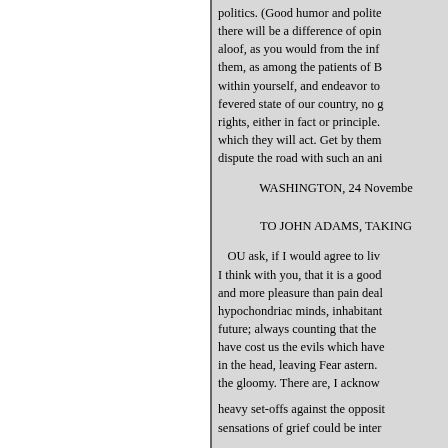politics. (Good humor and polite there will be a difference of opin aloof, as you would from the inf them, as among the patients of B within yourself, and endeavor to fevered state of our country, no g rights, either in fact or principle. which they will act. Get by them dispute the road with such an ani
WASHINGTON, 24 Novembe
TO JOHN ADAMS, TAKING
OU ask, if I would agree to li I think with you, that it is a good and more pleasure than pain deal hypochondriac minds, inhabitant future; always counting that the have cost us the evils which have in the head, leaving Fear astern. the gloomy. There are, I acknow heavy set-offs against the opposi sensations of grief could be inter